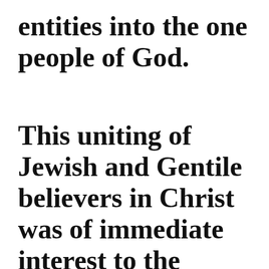entities into the one people of God.
This uniting of Jewish and Gentile believers in Christ was of immediate interest to the Christians in Rome